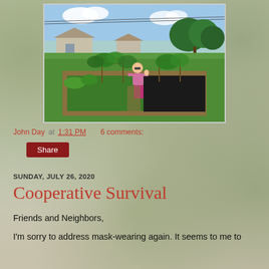[Figure (photo): A woman standing in a large backyard vegetable garden with raised beds, green plants growing on trellises, black mulch, and a house visible in the background.]
John Day at 1:31 PM    6 comments:
Share
SUNDAY, JULY 26, 2020
Cooperative Survival
Friends and Neighbors,
I'm sorry to address mask-wearing again. It seems to me to